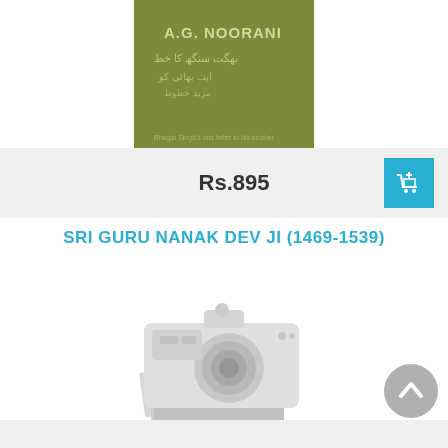[Figure (photo): Book cover with olive/khaki green background showing text 'A.G. NOORANI' and Urdu/Arabic script text, with subtitle text at bottom]
Rs.895
[Figure (illustration): Blue shopping cart icon button on cyan/teal background]
SRI GURU NANAK DEV JI (1469-1539)
[Figure (illustration): Placeholder camera icon illustration in light gray/white showing a vintage camera with photos underneath, indicating no image available]
[Figure (illustration): Gray circular back-to-top arrow button]